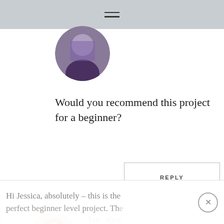Navigation menu
[Figure (photo): Circular cropped profile photo of a person in a purple/dark jacket]
Would you recommend this project for a beginner?
REPLY
[Figure (photo): Circular cropped photo of a smiling young woman with long brown hair on a light background]
Jen says
April 27, 2016 at 8:38 am
Hi Jessica, absolutely – this is the perfect beginner level project. The